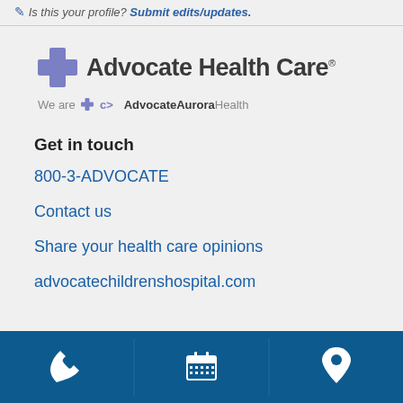✏ Is this your profile? Submit edits/updates.
[Figure (logo): Advocate Health Care logo with blue cross icon and text, below it 'We are AdvocateAuroraHealth' with smaller logo]
Get in touch
800-3-ADVOCATE
Contact us
Share your health care opinions
advocatechildrenshospital.com
[Figure (infographic): Bottom navigation bar with three icons: phone, calendar, and map pin location marker on dark blue background]